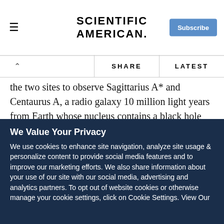Scientific American
the two sites to observe Sagittarius A* and Centaurus A, a radio galaxy 10 million light years from Earth whose nucleus contains a black hole with the mass of 55 million suns. In April, the teams announced that during those January observations the two sites managed to make common detections on both black holes.
2. Fringes to the Large Millimeter Telescope in Mexico.
We Value Your Privacy
We use cookies to enhance site navigation, analyze site usage & personalize content to provide social media features and to improve our marketing efforts. We also share information about your use of our site with our social media, advertising and analytics partners. To opt out of website cookies or otherwise manage your cookie settings, click on Cookie Settings. View Our